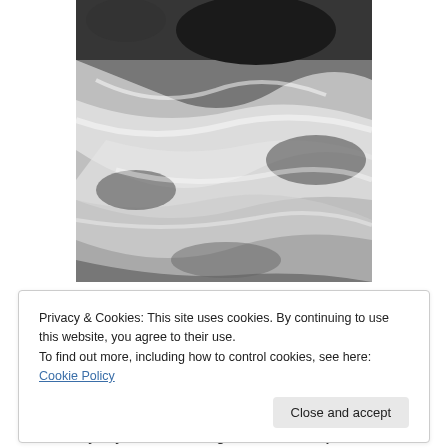[Figure (photo): Black and white long-exposure photograph of rushing water over rocks, showing silky smooth water motion blur with dark rocks visible at the top.]
Privacy & Cookies: This site uses cookies. By continuing to use this website, you agree to their use.
To find out more, including how to control cookies, see here: Cookie Policy
Close and accept
Every day we are learning. We learn from past